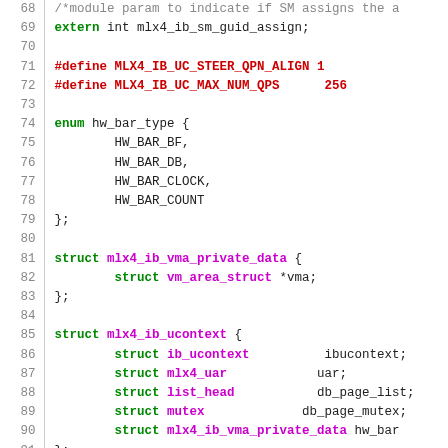Source code listing lines 68-94, C header file with struct and enum definitions for mlx4 InfiniBand driver